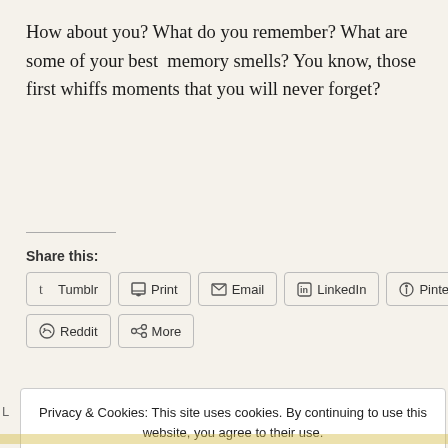How about you? What do you remember? What are some of your best memory smells? You know, those first whiffs moments that you will never forget?
Share this:
[Figure (screenshot): Social sharing buttons: Tumblr, Print, Email, LinkedIn, Pinterest, Reddit, More]
Privacy & Cookies: This site uses cookies. By continuing to use this website, you agree to their use. To find out more, including how to control cookies, see here: Cookie Policy
Close and accept